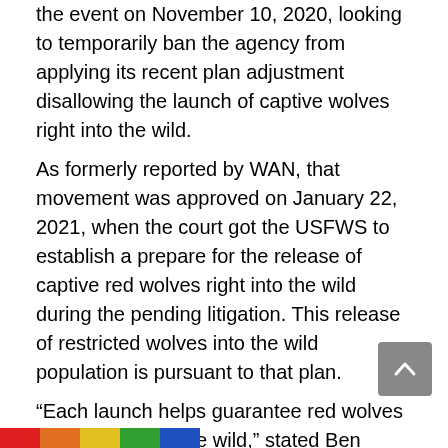the event on November 10, 2020, looking to temporarily ban the agency from applying its recent plan adjustment disallowing the launch of captive wolves right into the wild. As formerly reported by WAN, that movement was approved on January 22, 2021, when the court got the USFWS to establish a prepare for the release of captive red wolves right into the wild during the pending litigation. This release of restricted wolves into the wild population is pursuant to that plan. “Each launch helps guarantee red wolves have a future in the wild,” stated Ben Prater, Southeast program supervisor at Defenders of Wildlife. “However, even more must be done to